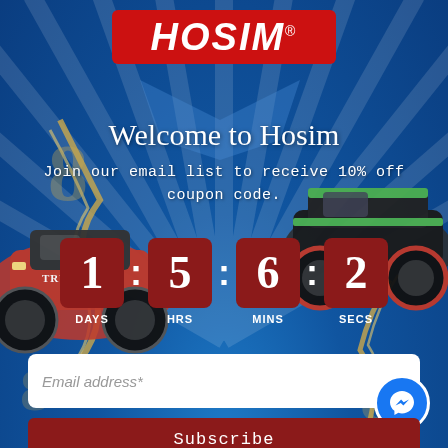[Figure (illustration): HOSIM brand promotional popup with blue background, RC truck images, countdown timer, email subscription form, and subscribe button]
HOSIM®
Welcome to Hosim
Join our email list to receive 10% off coupon code.
1 : 5 : 6 : 2 DAYS HRS MINS SECS
Email address*
Subscribe